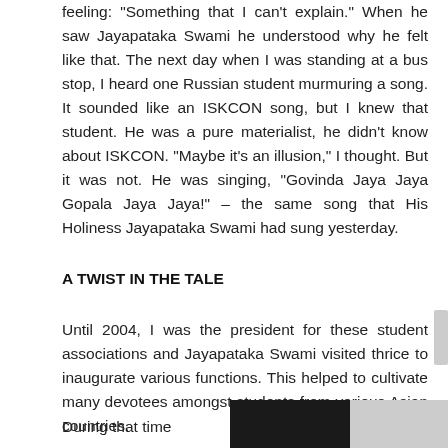feeling: "Something that I can't explain." When he saw Jayapataka Swami he understood why he felt like that. The next day when I was standing at a bus stop, I heard one Russian student murmuring a song. It sounded like an ISKCON song, but I knew that student. He was a pure materialist, he didn't know about ISKCON. "Maybe it's an illusion," I thought. But it was not. He was singing, "Govinda Jaya Jaya Gopala Jaya Jaya!" – the same song that His Holiness Jayapataka Swami had sung yesterday.
A TWIST IN THE TALE
Until 2004, I was the president for these student associations and Jayapataka Swami visited thrice to inaugurate various functions. This helped to cultivate many devotees amongst students from various Asian countries.
During that time
[Figure (photo): Black and white photograph showing a dark scene on the left and a lighter area on the right]